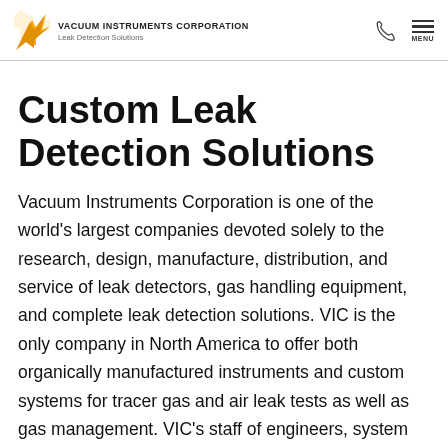VACUUM INSTRUMENTS CORPORATION — Leak Detection Solutions
Custom Leak Detection Solutions
Vacuum Instruments Corporation is one of the world's largest companies devoted solely to the research, design, manufacture, distribution, and service of leak detectors, gas handling equipment, and complete leak detection solutions. VIC is the only company in North America to offer both organically manufactured instruments and custom systems for tracer gas and air leak tests as well as gas management. VIC's staff of engineers, system design personnel and applications specialists